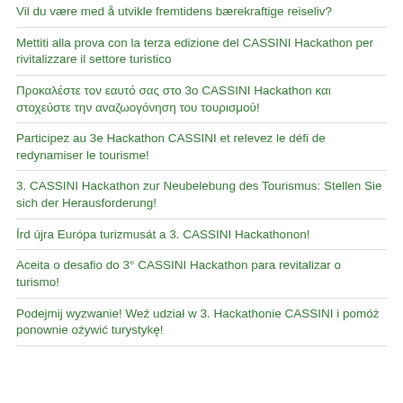Vil du være med å utvikle fremtidens bærekraftige reiseliv?
Mettiti alla prova con la terza edizione del CASSINI Hackathon per rivitalizzare il settore turistico
Προκαλέστε τον εαυτό σας στο 3o CASSINI Hackathon και στοχεύστε την αναζωογόνηση του τουρισμού!
Participez au 3e Hackathon CASSINI et relevez le défi de redynamiser le tourisme!
3. CASSINI Hackathon zur Neubelebung des Tourismus: Stellen Sie sich der Herausforderung!
Írd újra Európa turizmusát a 3. CASSINI Hackathonon!
Aceita o desafio do 3° CASSINI Hackathon para revitalizar o turismo!
Podejmij wyzwanie! Weź udział w 3. Hackathonie CASSINI i pomóż ponownie ożywić turystykę!